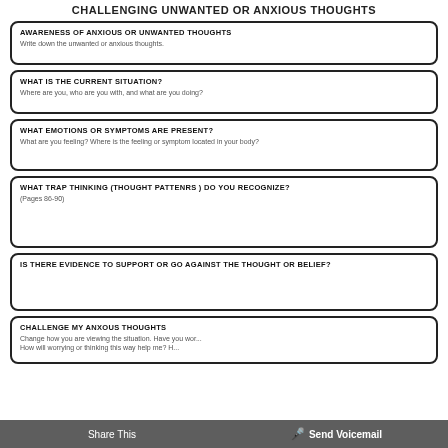CHALLENGING UNWANTED OR ANXIOUS THOUGHTS
AWARENESS OF ANXIOUS OR UNWANTED THOUGHTS
Write down the unwanted or anxious thoughts.
WHAT IS THE CURRENT SITUATION?
Where are you, who are you with, and what are you doing?
WHAT EMOTIONS OR SYMPTOMS ARE PRESENT?
What are you feeling? Where is the feeling or symptom located in your body?
WHAT TRAP THINKING (THOUGHT PATTENRS ) DO YOU RECOGNIZE?
(Pages 86-90)
IS THERE EVIDENCE TO SUPPORT OR GO AGAINST THE THOUGHT OR BELIEF?
CHALLENGE MY ANXOUS THOUGHTS
Change how you are viewing the situation. Have you wor... How will worrying or thinking this way help me? H...